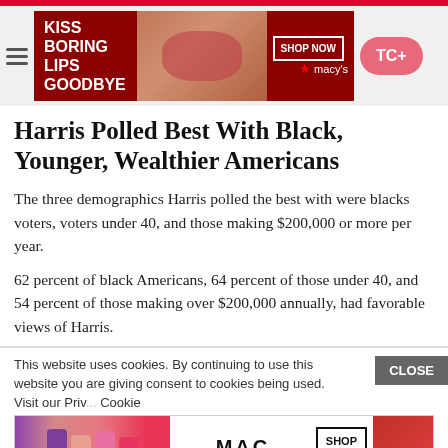[Figure (screenshot): Website header with red top bar, hamburger menu, Macy's lip advertisement banner reading 'KISS BORING LIPS GOODBYE' with SHOP NOW button, and TC+ pink button]
Harris Polled Best With Black, Younger, Wealthier Americans
The three demographics Harris polled the best with were blacks voters, voters under 40, and those making $200,000 or more per year.
62 percent of black Americans, 64 percent of those under 40, and 54 percent of those making over $200,000 annually, had favorable views of Harris.
This website uses cookies. By continuing to use this website you are giving consent to cookies being used. Visit our Priv... Cookie
[Figure (screenshot): MAC Cosmetics advertisement showing colorful lipsticks with SHOP NOW button]